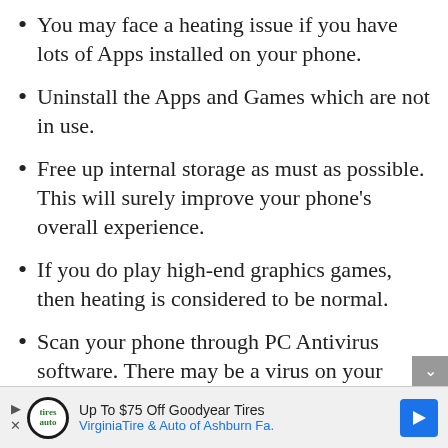You may face a heating issue if you have lots of Apps installed on your phone.
Uninstall the Apps and Games which are not in use.
Free up internal storage as must as possible. This will surely improve your phone's overall experience.
If you do play high-end graphics games, then heating is considered to be normal.
Scan your phone through PC Antivirus software. There may be a virus on your phone which is causing a heating issue.
[Figure (infographic): Advertisement banner: Up To $75 Off Goodyear Tires — VirginiaTire & Auto of Ashburn Fa.]